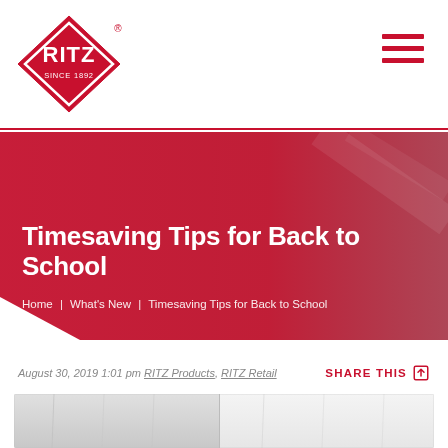[Figure (logo): RITZ brand logo — red diamond shape with RITZ text and SINCE 1892, with registered trademark symbol]
[Figure (illustration): Hamburger/menu icon with three horizontal red lines on the right side of the header]
[Figure (photo): Hero banner with red/crimson background and partial decorative geometric shapes, overlaid with page title and breadcrumb]
Timesaving Tips for Back to School
Home | What's New | Timesaving Tips for Back to School
August 30, 2019 1:01 pm RITZ Products, RITZ Retail
SHARE THIS
[Figure (photo): White fabric/clothing items on hangers, showing close-up of white shirts or garments]